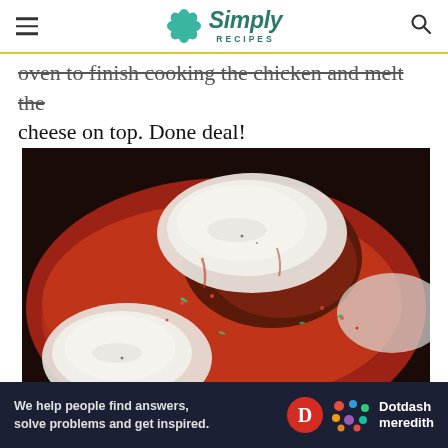Simply Recipes
oven to finish cooking the chicken and melt the cheese on top. Done deal!
[Figure (photo): Close-up photo of chicken covered with melted white cheese (mozzarella) in a red tomato sauce with visible red pepper flakes and green herbs in a cast iron skillet.]
Ad
We help people find answers, solve problems and get inspired. Dotdash meredith